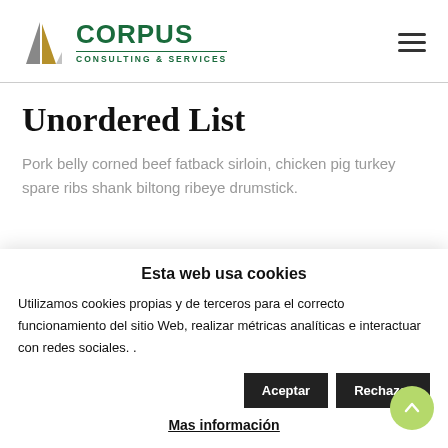[Figure (logo): Corpus Consulting & Services logo with two triangular/arrow shapes in gray and gold, and green text]
Unordered List
Pork belly corned beef fatback sirloin, chicken pig turkey spare ribs shank biltong ribeye drumstick.
Esta web usa cookies
Utilizamos cookies propias y de terceros para el correcto funcionamiento del sitio Web, realizar métricas analíticas e interactuar con redes sociales. .
Mas información